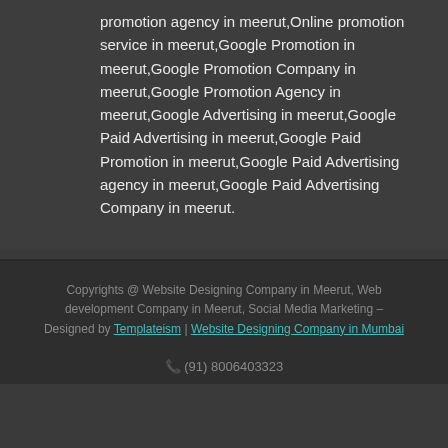promotion agency in meerut,Online promotion service in meerut,Google Promotion in meerut,Google Promotion Company in meerut,Google Promotion Agency in meerut,Google Advertising in meerut,Google Paid Advertising in meerut,Google Paid Promotion in meerut,Google Paid Advertising agency in meerut,Google Paid Advertising Company in meerut.
Copyrights @ Website Designing Company in Meerut, Web development Company in Meerut, Social Media Marketing – Designed by Templateism | Website Designing Company in Mumbai
(91) 8006403323